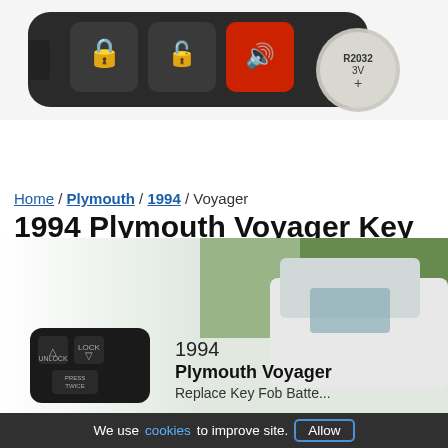[Figure (photo): Key fob with lock, unlock, alarm buttons and a CR2032 3V coin battery shown next to it]
Replace Fob's Battery
Home / Plymouth / 1994 / Voyager
1994 Plymouth Voyager Key Fob Battery Replacement Instructions
[Figure (photo): Hero image showing 1994 Plymouth Voyager vehicle with a CR2016 3V coin battery and the key fob. Text reads: 1994 Plymouth Voyager Replace Key Fob Battery]
We use cookies to improve site. Allow